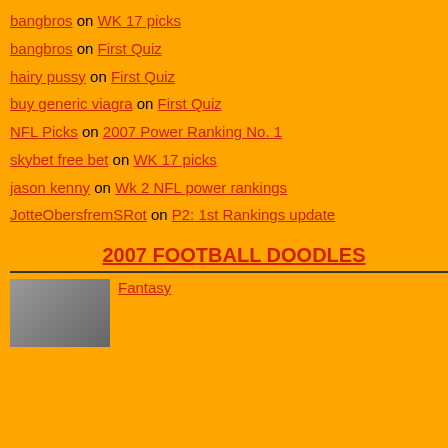bangbros on WK 17 picks
bangbros on First Quiz
hairy pussy on First Quiz
buy generic viagra on First Quiz
NFL Picks on 2007 Power Ranking No. 1
skybet free bet on WK 17 picks
jason kenny on Wk 2 NFL power rankings
JotteObersfremSRot on P2: 1st Rankings update
2007 FOOTBALL DOODLES
[Figure (photo): Thumbnail photo of a person, partially visible]
Fantasy
that STILL counts only TDs, FGs, safties for a TD pass and 1 point for a 2-point co 36-32 going into a Monday night duel be Cowboys kicker Nick Folk.
Here's how I lost:
After taking a 40-33 lead on Romo's first XP), Folk's field goals pushed my oppon I came storming back behind Romo's late 42 lead with less than 30 seconds remain the two-point conversion would have ma closed out the week, but Terrell Owens d
The Cowboys recovered the ensuing ons began toying with me. Romo's completio in field goal range, but it was reviewed a second completion put the Cowboys in ra With 7 seconds remaining, Romo's pass them in close enough for a 53-yard kick.
Folk hit it, only to have it waved off by a This trick has worked in two previous ga kickers choked when asked to hit long fie But Folk didn't. He lined up and punched